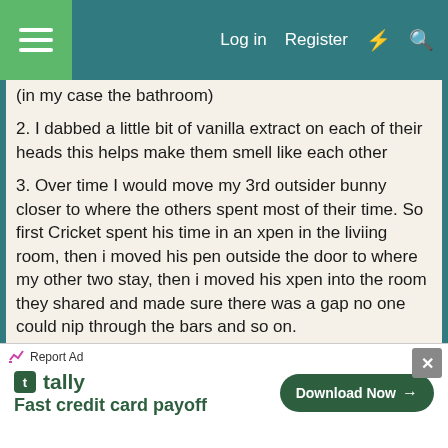Log in  Register
(in my case the bathroom)
2. I dabbed a little bit of vanilla extract on each of their heads this helps make them smell like each other
3. Over time I would move my 3rd outsider bunny closer to where the others spent most of their time. So first Cricket spent his time in an xpen in the liviing room, then i moved his pen outside the door to where my other two stay, then i moved his xpen into the room they shared and made sure there was a gap no one could nip through the bars and so on.

I think it took about 2-3 months of slow introductions and supervision for everyone to be completely relaxed with each other.
The 4th bunny was a different story.. she jumped over
[Figure (screenshot): Advertisement for Tally app - Fast credit card payoff with Download Now button]